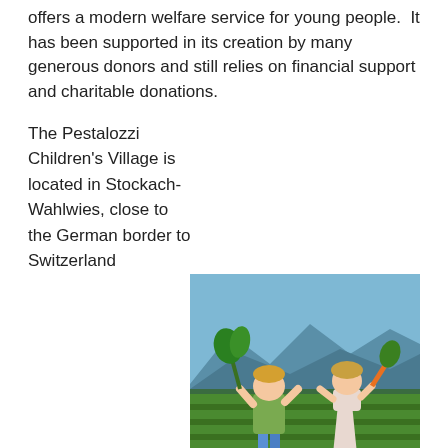offers a modern welfare service for young people.  It has been supported in its creation by many generous donors and still relies on financial support and charitable donations.
The Pestalozzi Children's Village is located in Stockach-Wahlwies, close to the German border to Switzerland and four kilometers away from the Lake of Constance. Nestled in a landscape of hills, streams, vegetable and fruit plantations, the village is a place of peace and security. The immediate environment offers numerous possibilities for play and adventure as well as an open infrastructure, which includes a wholefood shop, bio-dynamic agriculture and farm,
[Figure (photo): Two young children standing in a vegetable field with mountains and trees in the background. The boy on the left holds large leafy green vegetables, and the girl on the right holds carrots. Both are smiling.]